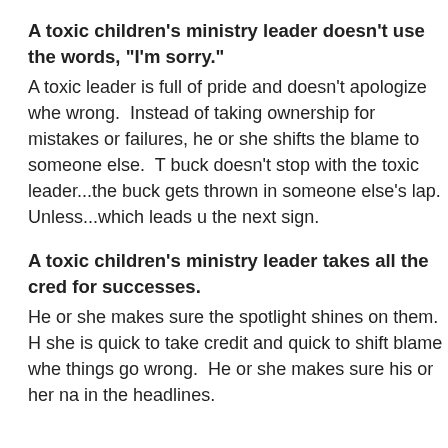A toxic children's ministry leader doesn't use the words, "I'm sorry."
A toxic leader is full of pride and doesn't apologize when wrong. Instead of taking ownership for mistakes or failures, he or she shifts the blame to someone else. The buck doesn't stop with the toxic leader...the buck gets thrown in someone else's lap. Unless...which leads us to the next sign.
A toxic children's ministry leader takes all the credit for successes.
He or she makes sure the spotlight shines on them. He or she is quick to take credit and quick to shift blame when things go wrong. He or she makes sure his or her name is in the headlines.